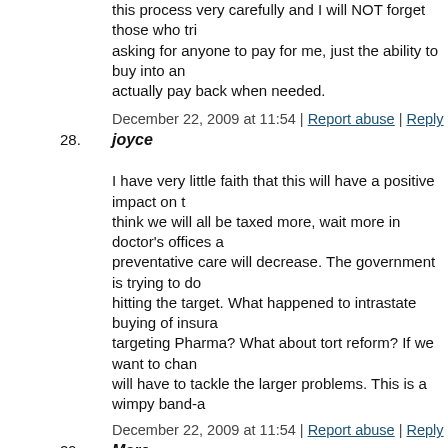this process very carefully and I will NOT forget those who tri... asking for anyone to pay for me, just the ability to buy into an... actually pay back when needed.
December 22, 2009 at 11:54 | Report abuse | Reply
28. joyce
I have very little faith that this will have a positive impact on t... think we will all be taxed more, wait more in doctor's offices a... preventative care will decrease. The government is trying to do... hitting the target. What happened to intrastate buying of insura... targeting Pharma? What about tort reform? If we want to chan... will have to tackle the larger problems. This is a wimpy band-a...
December 22, 2009 at 11:54 | Report abuse | Reply
29. Marc
Mike – that’s the problem... your numbers. I have NO clue whe...
I currently work IN healthcare... and have worked in healthcar... worked clinical, administrative and now technical. I have work... MAJOR cities, 2 of the top 3 health ins companies, small phys...
80% of legal citizens of this country do NOT have health insu... SO many commercials.) I would venture to guess the numbers... are fully covered. With another 10-15% being UNDER insure...